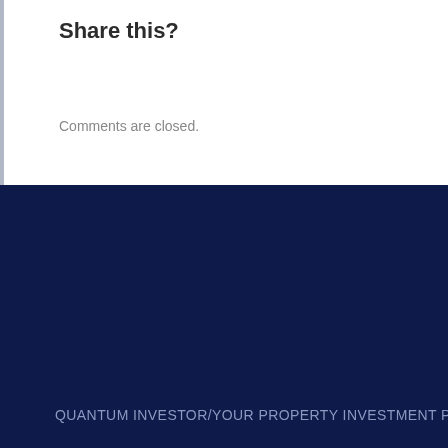Share this?
Comments are closed.
QUANTUM INVESTOR/YOUR PROPERTY INVESTMENT PART